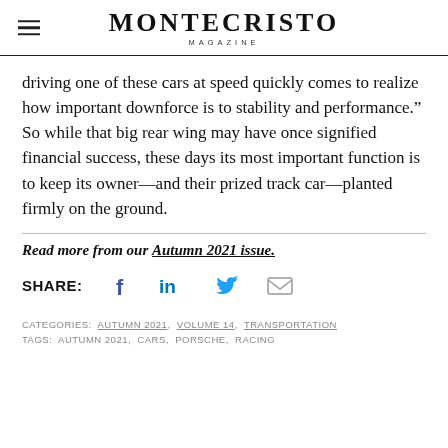MONTECRISTO MAGAZINE
driving one of these cars at speed quickly comes to realize how important downforce is to stability and performance.” So while that big rear wing may have once signified financial success, these days its most important function is to keep its owner—and their prized track car—planted firmly on the ground.
Read more from our Autumn 2021 issue.
SHARE: [Facebook] [LinkedIn] [Twitter] [Email]
CATEGORIES: AUTUMN 2021, VOLUME 14, TRANSPORTATION
TAGS: AUTUMN 2021, CARS, PORSCHE, RACING